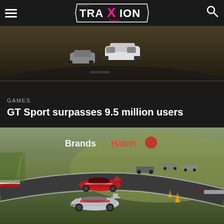Traxion - navigation header with hamburger menu, Traxion logo, and search icon
[Figure (photo): Racing car on track, top portion of article image, dark moody lighting]
GAMES
GT Sport surpasses 9.5 million users
[Figure (photo): GT Sport racing cars on Brands Hatch circuit, multiple cars in race including red and white/grey cars in foreground, green track surroundings]